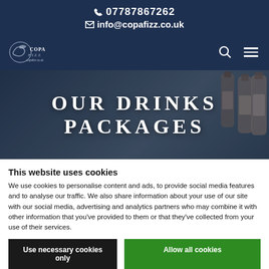📞 07787867262
✉ info@copafizz.co.uk
[Figure (logo): Copa Fizz logo with decorative fish/feather graphic in white on dark navy background]
OUR DRINKS PACKAGES
This website uses cookies
We use cookies to personalise content and ads, to provide social media features and to analyse our traffic. We also share information about your use of our site with our social media, advertising and analytics partners who may combine it with other information that you've provided to them or that they've collected from your use of their services.
Use necessary cookies only
Allow all cookies
Show details